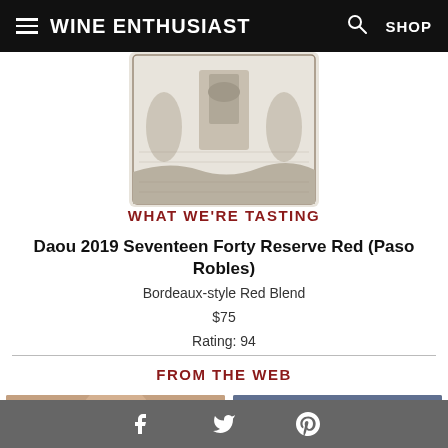Wine Enthusiast — SHOP
[Figure (illustration): Wine bottle label with ornate engraving showing two angels/figures flanking a bell tower with landscape background]
WHAT WE'RE TASTING
Daou 2019 Seventeen Forty Reserve Red (Paso Robles)
Bordeaux-style Red Blend
$75
Rating: 94
FROM THE WEB
[Figure (photo): Left thumbnail photo of a person's face]
[Figure (photo): Right thumbnail photo of a food/drink item]
Facebook  Twitter  Pinterest